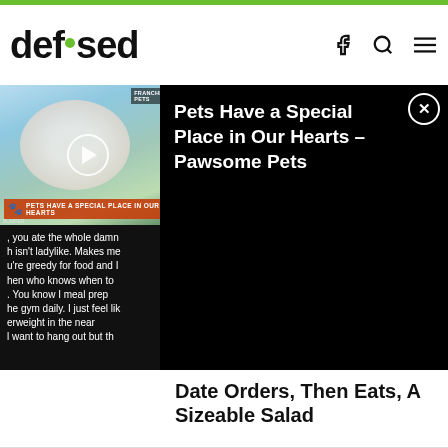defused
[Figure (screenshot): Video thumbnail showing a white fluffy dog near a faucet with a paw logo banner reading PETS HAVE A SPECIAL PLACE IN OUR HEARTS, and below it a text screenshot about food/meal prep]
[Figure (screenshot): Black ad overlay popup: Pets Have a Special Place in Our Hearts - Pawsome Pets, with close X button]
Date Orders, Then Eats, A Sizeable Salad
9 hours ago